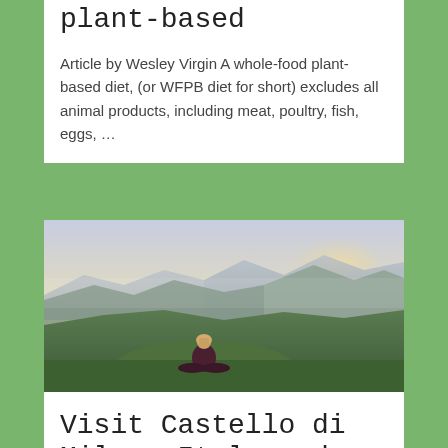plant-based
Article by Wesley Virgin A whole-food plant-based diet, (or WFPB diet for short) excludes all animal products, including meat, poultry, fish, eggs, …
[Figure (photo): A person sitting in a meditation pose on a grassy mountain hilltop, facing away from the camera toward a misty mountain range at sunset/sunrise with a warm glow in the sky.]
Visit Castello di Milan, Italy and Create An Abundant Life